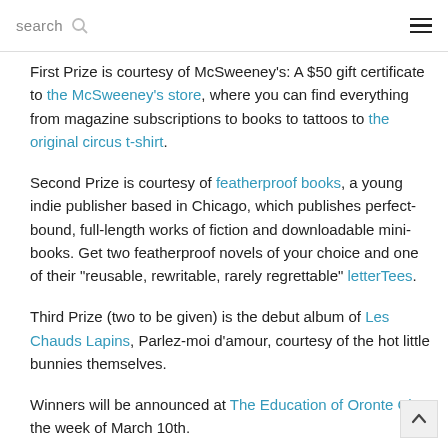search
First Prize is courtesy of McSweeney's: A $50 gift certificate to the McSweeney's store, where you can find everything from magazine subscriptions to books to tattoos to the original circus t-shirt.
Second Prize is courtesy of featherproof books, a young indie publisher based in Chicago, which publishes perfect-bound, full-length works of fiction and downloadable mini-books. Get two featherproof novels of your choice and one of their “reusable, rewritable, rarely regrettable” letterTees.
Third Prize (two to be given) is the debut album of Les Chauds Lapins, Parlez-moi d’amour, courtesy of the hot little bunnies themselves.
Winners will be announced at The Education of Oronte Ch the week of March 10th.